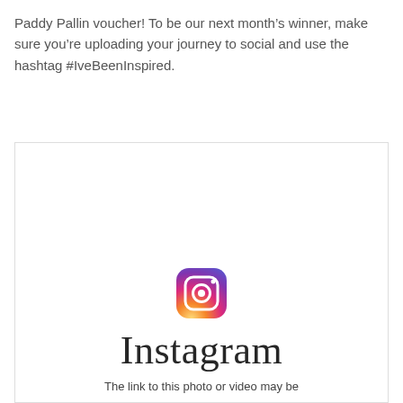Paddy Pallin voucher! To be our next month's winner, make sure you're uploading your journey to social and use the hashtag #IveBeenInspired.
[Figure (screenshot): Embedded Instagram post placeholder showing the Instagram logo (gradient camera icon) and wordmark 'Instagram', with caption text 'The link to this photo or video may be']